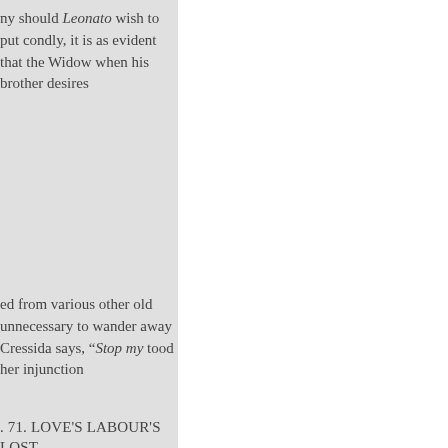ny should Leonato wish to put condly, it is as evident that the Widow when his brother desires
ed from various other old unnecessary to wander away Cressida says, “Stop my tood her injunction
. 71. LOVE'S LABOUR'S LOST